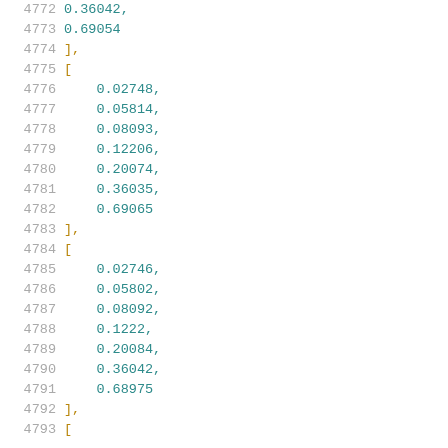Code listing lines 4772-4793: numeric array data
4772    0.36042,
4773    0.69054
4774  ],
4775  [
4776    0.02748,
4777    0.05814,
4778    0.08093,
4779    0.12206,
4780    0.20074,
4781    0.36035,
4782    0.69065
4783  ],
4784  [
4785    0.02746,
4786    0.05802,
4787    0.08092,
4788    0.1222,
4789    0.20084,
4790    0.36042,
4791    0.68975
4792  ],
4793  [